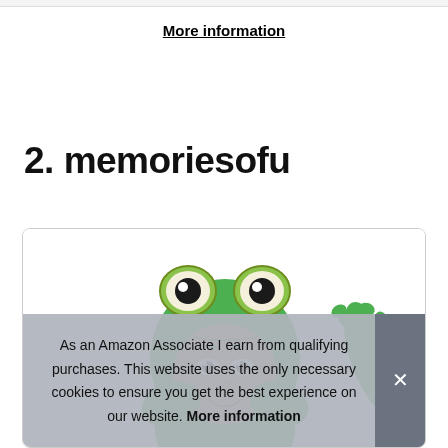More information
2. memoriesofu
[Figure (photo): Person wearing a green frog costume/onesie with large eyes on the hood, facing the camera; a second green frog figure visible on the right side.]
As an Amazon Associate I earn from qualifying purchases. This website uses the only necessary cookies to ensure you get the best experience on our website. More information